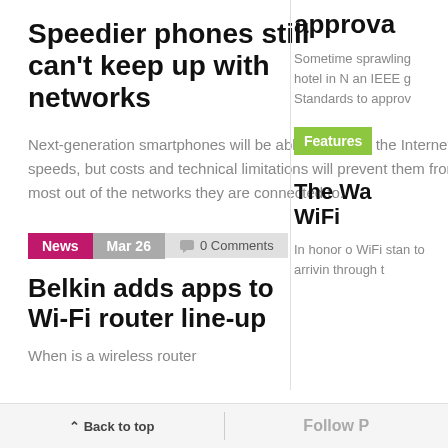Speedier phones still can't keep up with networks
Next-generation smartphones will be able to access the Internet at higher speeds, but costs and technical limitations will prevent them from getting the most out of the networks they are connected to.
approva
Sometime sprawling hotel in N an IEEE g Standards to approv
Features
The Wa WiFi
In honor o WiFi stan to arrivin through t
News  Mar 26  0 Comments
Belkin adds apps to Wi-Fi router line-up
When is a wireless router
Back to top   Follow P